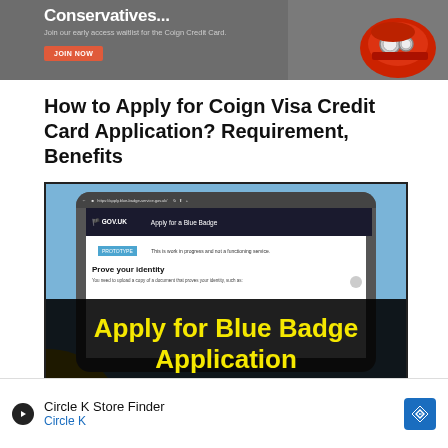[Figure (screenshot): Advertisement banner for Coign Credit Card with text 'Conservatives...' and a red vintage car image, JOIN NOW button]
How to Apply for Coign Visa Credit Card Application? Requirement, Benefits
[Figure (screenshot): Screenshot showing a tablet device displaying Apply for Blue Badge government page (GOV.UK), with overlaid yellow text 'Apply for Blue Badge Application' on black background]
How to apply for a Blue Badge
[Figure (screenshot): Bottom advertisement banner for Circle K Store Finder showing Circle K brand name and navigation icon]